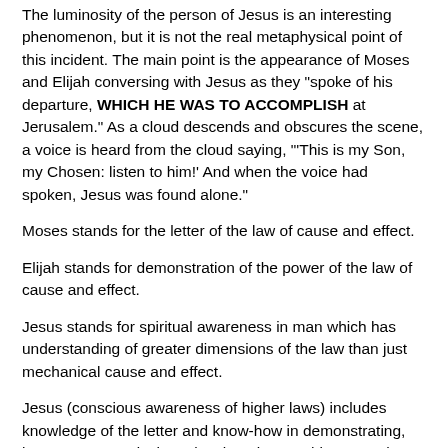The luminosity of the person of Jesus is an interesting phenomenon, but it is not the real metaphysical point of this incident. The main point is the appearance of Moses and Elijah conversing with Jesus as they "spoke of his departure, WHICH HE WAS TO ACCOMPLISH at Jerusalem." As a cloud descends and obscures the scene, a voice is heard from the cloud saying, "'This is my Son, my Chosen: listen to him!' And when the voice had spoken, Jesus was found alone."
Moses stands for the letter of the law of cause and effect.
Elijah stands for demonstration of the power of the law of cause and effect.
Jesus stands for spiritual awareness in man which has understanding of greater dimensions of the law than just mechanical cause and effect.
Jesus (conscious awareness of higher laws) includes knowledge of the letter and know-how in demonstrating, but He transcends these levels. "Listen to him" says the voice from